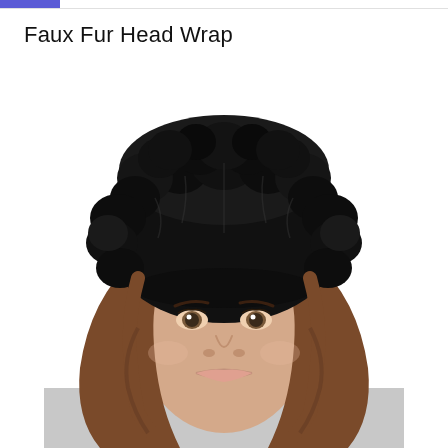Faux Fur Head Wrap
[Figure (photo): A woman wearing a large, fluffy black faux fur headband/head wrap. The model has long wavy brown hair, hazel eyes, and a neutral expression. She is wearing a light gray top. The background is white.]